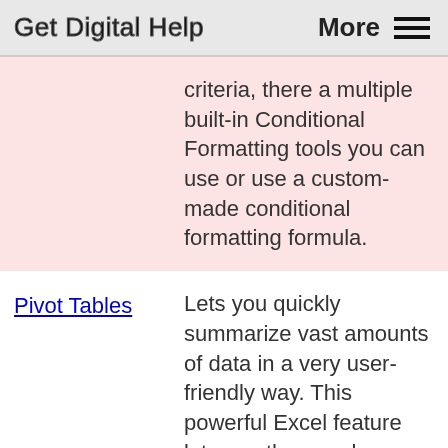Get Digital Help  More ☰
criteria, there a multiple built-in Conditional Formatting tools you can use or use a custom-made conditional formatting formula.
Pivot Tables
Lets you quickly summarize vast amounts of data in a very user-friendly way. This powerful Excel feature lets you then analyze, organize and categorize important data efficiently.